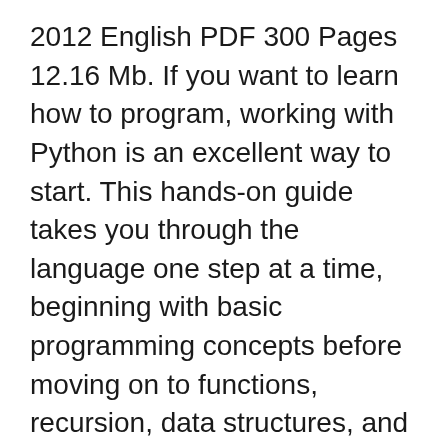2012 English PDF 300 Pages 12.16 Mb. If you want to learn how to program, working with Python is an excellent way to start. This hands-on guide takes you through the language one step at a time, beginning with basic programming concepts before moving on to functions, recursion, data structures, and object-oriented design. Synopsis. If you want to learn how to program, working with Python is an excellent way to start. This hands-on guide takes you through the language one step at a time, beginning with basic programming concepts before moving on to functions, recursion, data structures, and object-oriented design. Through exercises in...